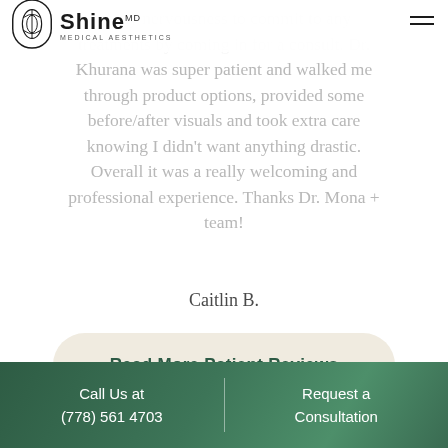[Figure (logo): Shine MD Medical Aesthetics logo with oval leaf icon]
of my nervousness to commit to any treatments by coming in for a consult. Dr. Khurana was super patient and walked me through product options, provided some before/after visuals and took extra care knowing I didn't want anything drastic. Overall it was a really welcoming and professional experience. Thanks Dr. Mona + team!
Caitlin B.
Read More Patient Reviews
Call Us at (778) 561 4703 | Request a Consultation